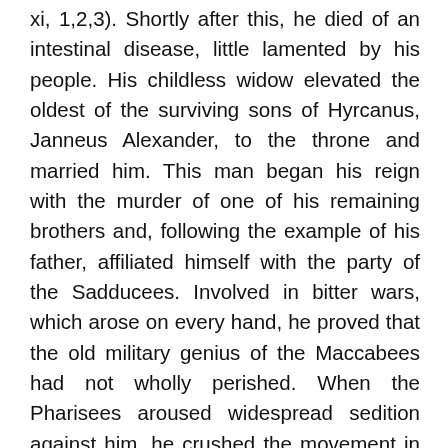xi, 1,2,3). Shortly after this, he died of an intestinal disease, little lamented by his people. His childless widow elevated the oldest of the surviving sons of Hyrcanus, Janneus Alexander, to the throne and married him. This man began his reign with the murder of one of his remaining brothers and, following the example of his father, affiliated himself with the party of the Sadducees. Involved in bitter wars, which arose on every hand, he proved that the old military genius of the Maccabees had not wholly perished. When the Pharisees aroused widespread sedition against him, he crushed the movement in a torrent of blood (Ant., XIII, xiv, 2). In the internecine war that followed, he killed some 50,000 of his own people and was practically an exile from his own city and government. Ruling only by brute force, he made the last years of his reign dark and gloomy. Josephus touches but